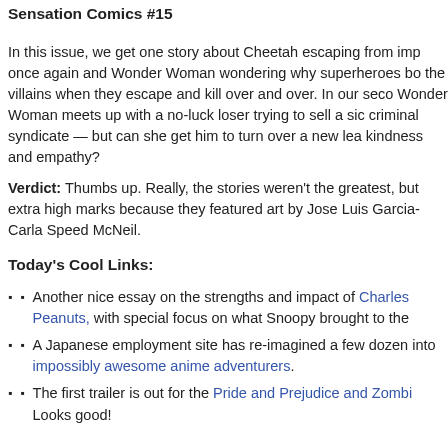Sensation Comics #15
In this issue, we get one story about Cheetah escaping from imp once again and Wonder Woman wondering why superheroes bo the villains when they escape and kill over and over. In our seco Wonder Woman meets up with a no-luck loser trying to sell a sic criminal syndicate — but can she get him to turn over a new lea kindness and empathy?
Verdict: Thumbs up. Really, the stories weren't the greatest, but extra high marks because they featured art by Jose Luis Garcia- Carla Speed McNeil.
Today's Cool Links:
Another nice essay on the strengths and impact of Charles Peanuts, with special focus on what Snoopy brought to the
A Japanese employment site has re-imagined a few dozen into impossibly awesome anime adventurers.
The first trailer is out for the Pride and Prejudice and Zombi Looks good!